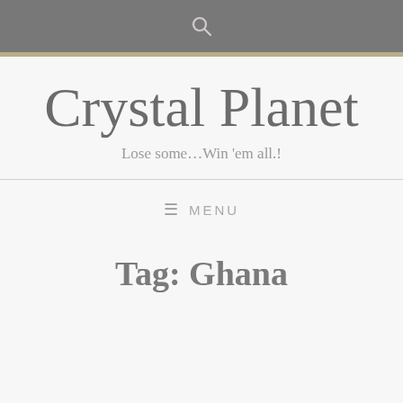Crystal Planet
Lose some…Win 'em all.!
≡ MENU
Tag: Ghana